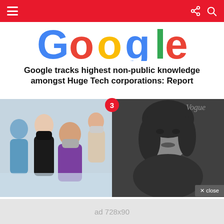Navigation bar with menu, share, and search icons
[Figure (logo): Google logo banner at the top of the page]
Google tracks highest non-public knowledge amongst Huge Tech corporations: Report
[Figure (photo): Left: Group of people wearing masks in a medical/hospital setting. Right: Black and white portrait photo of a woman. Badge showing number 3 between images.]
Rhea Kapoor shares first glimpse of Sonam, Anand Ahuja's son
× close
ad 728x90